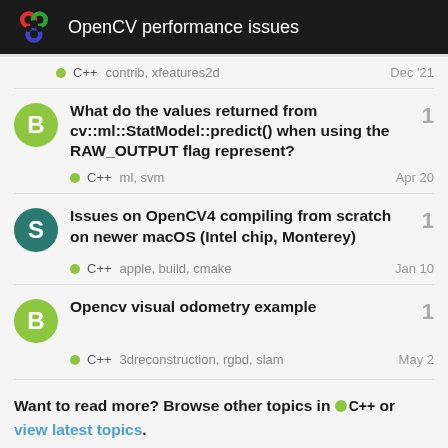OpenCV performance issues
C++ contrib, xfeatures2d Dec '21
What do the values returned from cv::ml::StatModel::predict() when using the RAW_OUTPUT flag represent? — C++ ml, svm Apr 20 — 1 vote
Issues on OpenCV4 compiling from scratch on newer macOS (Intel chip, Monterey) — C++ apple, build, cmake Jan 10 — 1 vote
Opencv visual odometry example — C++ 3dreconstruction, rgbd, slam May 2 — 1 vote
Want to read more? Browse other topics in ● C++ or view latest topics.